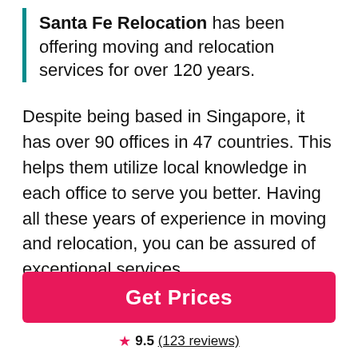Santa Fe Relocation has been offering moving and relocation services for over 120 years.
Despite being based in Singapore, it has over 90 offices in 47 countries. This helps them utilize local knowledge in each office to serve you better. Having all these years of experience in moving and relocation, you can be assured of exceptional services.
Santa Fe Relocation offers the following:
Get Prices
9.5 (123 reviews)